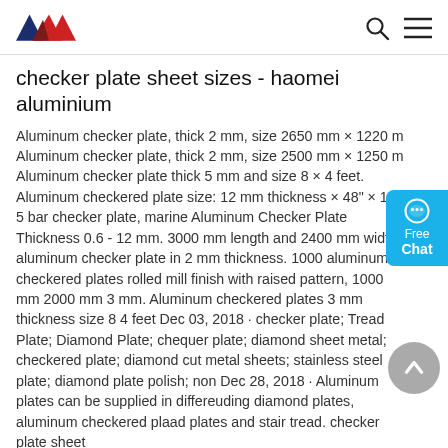checker plate sheet sizes - haomei aluminium (logo and navigation)
checker plate sheet sizes - haomei aluminium
Aluminum checker plate, thick 2 mm, size 2650 mm × 1220 m Aluminum checker plate, thick 2 mm, size 2500 mm × 1250 m Aluminum checker plate thick 5 mm and size 8 × 4 feet. Aluminum checkered plate size: 12 mm thickness × 48" × 14 5 bar checker plate, marine Aluminum Checker Plate Thickness 0.6 - 12 mm. 3000 mm length and 2400 mm width aluminum checker plate in 2 mm thickness. 1000 aluminum checkered plates rolled mill finish with raised pattern, 1000 mm 2000 mm 3 mm. Aluminum checkered plates 3 mm thickness size 8 4 feet Dec 03, 2018 · checker plate; Tread Plate; Diamond Plate; chequer plate; diamond sheet metal; checkered plate; diamond cut metal sheets; stainless steel plate; diamond plate polish; non Dec 28, 2018 · Aluminum plates can be supplied in differeuding diamond plates, aluminum checkered plates, tread plates and stair tread. checker plate sheet
Get Price